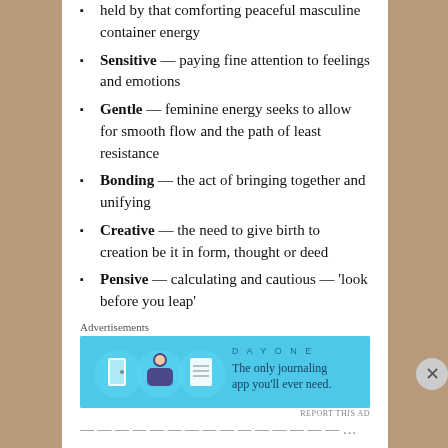held by that comforting peaceful masculine container energy
Sensitive — paying fine attention to feelings and emotions
Gentle — feminine energy seeks to allow for smooth flow and the path of least resistance
Bonding — the act of bringing together and unifying
Creative — the need to give birth to creation be it in form, thought or deed
Pensive — calculating and cautious — 'look before you leap'
Advertisements
[Figure (infographic): Day One journaling app advertisement — blue background with illustrated icons and text: The only journaling app you'll ever need.]
REPORT THIS AD
Advertisements
[Figure (infographic): Fandom on Tumblr advertisement — colorful gradient background with bold text: FANDOM ON tumblr]
REPORT THIS AD